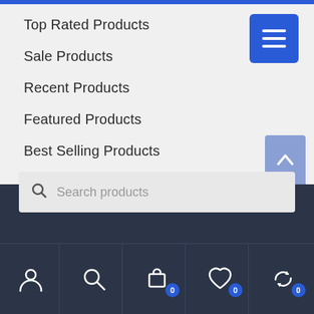Top Rated Products
Sale Products
Recent Products
Featured Products
Best Selling Products
Customer Care
My Account
Wishlist
[Figure (screenshot): Bottom navigation bar with person, search, cart (0), heart (0), and refresh (0) icons on dark background, plus a search products input field above]
[Figure (other): Blue hamburger menu button in top right corner]